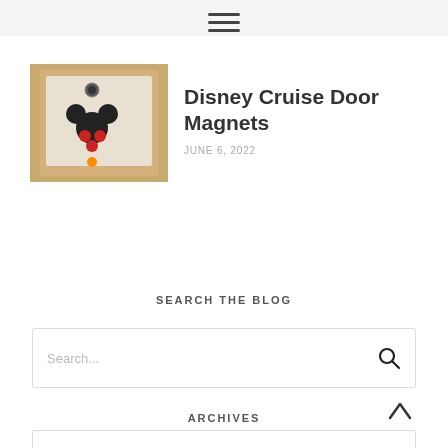[Figure (photo): Photo of a Disney cruise cabin door with Mickey Mouse shaped magnets decorating it, viewed from a corridor]
Disney Cruise Door Magnets
JUNE 6, 2022
SEARCH THE BLOG
[Figure (other): Search input box with placeholder text 'Search...' and a search icon on the right]
ARCHIVES
[Figure (other): Dropdown select box with 'Select Month' placeholder]